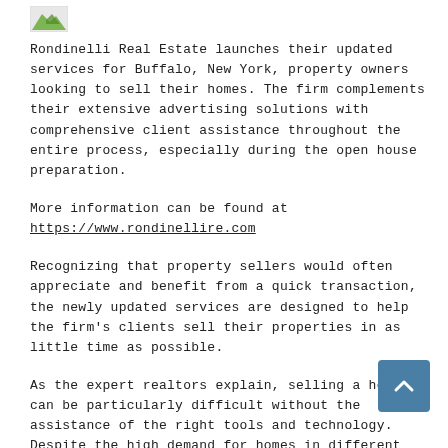[Figure (logo): Small green and white logo image in top left corner]
Rondinelli Real Estate launches their updated services for Buffalo, New York, property owners looking to sell their homes. The firm complements their extensive advertising solutions with comprehensive client assistance throughout the entire process, especially during the open house preparation.
More information can be found at https://www.rondinellire.com
Recognizing that property sellers would often appreciate and benefit from a quick transaction, the newly updated services are designed to help the firm's clients sell their properties in as little time as possible.
As the expert realtors explain, selling a house can be particularly difficult without the assistance of the right tools and technology. Despite the high demand for homes in different parts of New York, it can still be a challenge to find buyers whose requirements match the exact features of the property on sale.
To help their clients maximize their reach, Rondinelli Real Estate